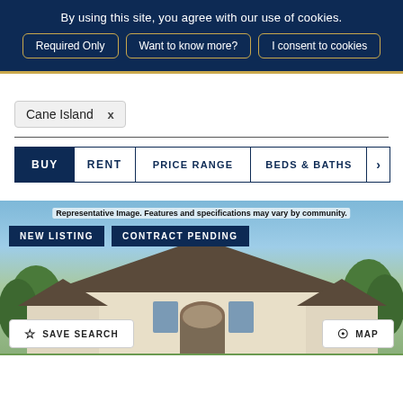By using this site, you agree with our use of cookies.
Required Only
Want to know more?
I consent to cookies
Cane Island ×
BUY   RENT   PRICE RANGE   BEDS & BATHS   >
Representative Image. Features and specifications may vary by community.
NEW LISTING
CONTRACT PENDING
☆ SAVE SEARCH
⊙ MAP